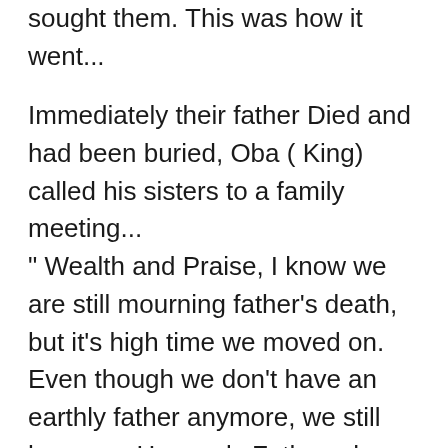in a very short time, Help and Favour had sought them. This was how it went...
Immediately their father Died and had been buried, Oba ( King) called his sisters to a family meeting... " Wealth and Praise, I know we are still mourning father’s death, but it’s high time we moved on. Even though we don’t have an earthly father anymore, we still have our Heavenly Father who can take us places. I see this as a way for us to throw all our eggs in God’s basket. As it is, we have no one but we have God. You know the Scripture that says “Arise, shine, for your light has come, and the glory of the LORD rises upon you.”. That Ad...